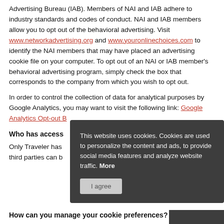Advertising Bureau (IAB). Members of NAI and IAB adhere to industry standards and codes of conduct. NAI and IAB members allow you to opt out of the behavioral advertising. Visit www.networkadvertising.org and www.youronlinechoices.com to identify the NAI members that may have placed an advertising cookie file on your computer. To opt out of an NAI or IAB member's behavioral advertising program, simply check the box that corresponds to the company from which you wish to opt out.
In order to control the collection of data for analytical purposes by Google Analytics, you may want to visit the following link: Google Analytics Opt-out B...
Who has access...
Only Traveler has... third parties can b...
This website uses cookies. Cookies are used to personalize the content and ads, to provide social media features and analyze website traffic. More
How can you manage your cookie preferences?